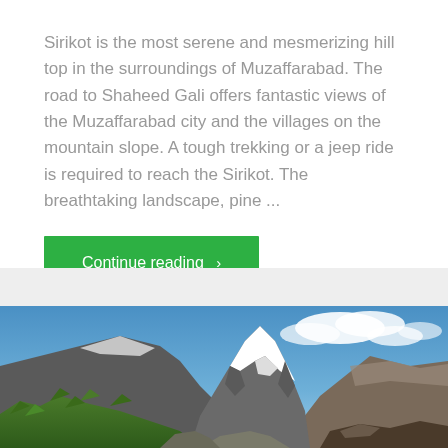Sirikot is the most serene and mesmerizing hill top in the surroundings of Muzaffarabad. The road to Shaheed Gali offers fantastic views of the Muzaffarabad city and the villages on the mountain slope. A tough trekking or a jeep ride is required to reach the Sirikot. The breathtaking landscape, pine ...
Continue reading >
[Figure (photo): A mountain landscape photo showing a snow-capped rocky mountain peak against a blue sky with clouds, with green trees and rocky slopes in the foreground.]